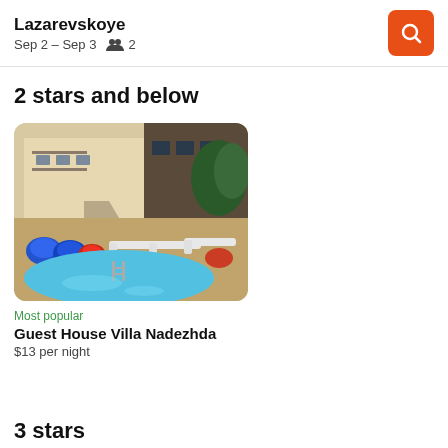Lazarevskoye
Sep 2 – Sep 3   👥 2
2 stars and below
[Figure (photo): Photo of Guest House Villa Nadezhda showing a swimming pool with sun loungers and bean bag chairs, with a multi-story building in the background]
Most popular
Guest House Villa Nadezhda
$13 per night
3 stars